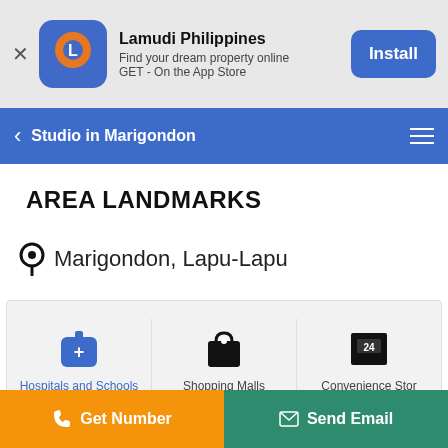[Figure (screenshot): Lamudi Philippines app install banner with blue app icon, app name, tagline, and Install button]
Studio in Marigondon
AREA LANDMARKS
Marigondon, Lapu-Lapu
[Figure (infographic): Category tabs: Hospitals and Schools (active/blue), Shopping Malls, Convenience Stor]
Health, Diagnostics
Click to activate map
Get Number
Send Email